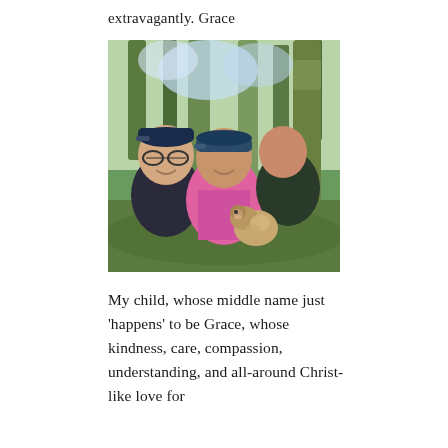extravagantly. Grace
[Figure (photo): A selfie-style family photo of three people and a small scruffy dog in a forest setting. On the left is a man wearing a navy cap and glasses, smiling. In the center is a woman wearing a blue cap and bright pink zip-up jacket. On the right is a young girl leaning her head on the woman's shoulder, wearing a dark navy shirt and holding the small fluffy dog. Background shows tall moss-covered trees and green foliage in dappled sunlight.]
My child, whose middle name just 'happens' to be Grace, whose kindness, care, compassion, understanding, and all-around Christ-like love for